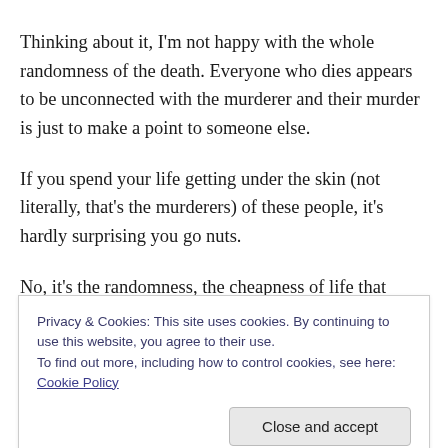Thinking about it, I'm not happy with the whole randomness of the death. Everyone who dies appears to be unconnected with the murderer and their murder is just to make a point to someone else.
If you spend your life getting under the skin (not literally, that's the murderers) of these people, it's hardly surprising you go nuts.
No, it's the randomness, the cheapness of life that confuses me. I know they are fictional, but the people on
Privacy & Cookies: This site uses cookies. By continuing to use this website, you agree to their use.
To find out more, including how to control cookies, see here: Cookie Policy
Close and accept
You're probably thinking I'm a stupid, sensitive soul – I do